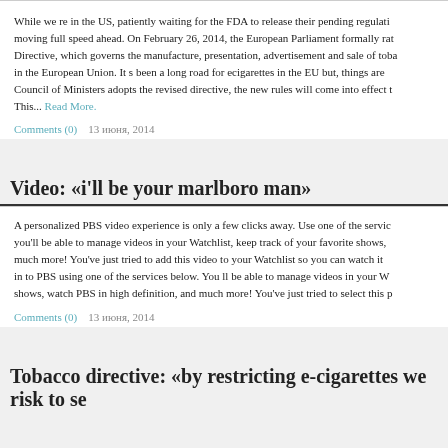While we re in the US, patiently waiting for the FDA to release their pending regulati... moving full speed ahead. On February 26, 2014, the European Parliament formally rat... Directive, which governs the manufacture, presentation, advertisement and sale of toba... in the European Union. It s been a long road for ecigarettes in the EU but, things are... Council of Ministers adopts the revised directive, the new rules will come into effect t... This... Read More.
Comments (0)    13 июня, 2014
Video: «i'll be your marlboro man»
A personalized PBS video experience is only a few clicks away. Use one of the servic... you'll be able to manage videos in your Watchlist, keep track of your favorite shows,... much more! You've just tried to add this video to your Watchlist so you can watch it... in to PBS using one of the services below. You ll be able to manage videos in your W... shows, watch PBS in high definition, and much more! You've just tried to select this p...
Comments (0)    13 июня, 2014
Tobacco directive: «by restricting e-cigarettes we risk to se...